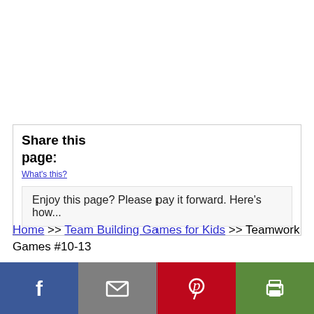Share this page:
What's this?
Enjoy this page? Please pay it forward. Here's how...
Home >> Team Building Games for Kids >> Teamwork Games #10-13
I get commissions for purchases made through links in this
[Figure (other): Social sharing bar with Facebook, Email, Pinterest, and Print buttons]